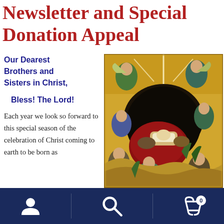Newsletter and Special Donation Appeal
Our Dearest Brothers and Sisters in Christ,
Bless! The Lord!
Each year we look so forward to this special season of the celebration of Christ coming to earth to be born as
[Figure (illustration): Orthodox Christian icon showing the Nativity of Christ, with golden background, figures of angels, shepherds, and the Virgin Mary with baby Jesus in a manger, in Byzantine style painting]
Navigation bar with person/account icon, search icon, and shopping cart icon with badge showing 0